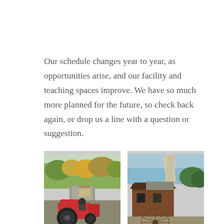Our schedule changes year to year, as opportunities arise, and our facility and teaching spaces improve. We have so much more planned for the future, so check back again, or drop us a line with a question or suggestion.
[Figure (photo): Red tractor parked on a road with autumn trees and forest in the background]
[Figure (photo): Old wooden mill building with a large wagon wheel in the foreground and a grain elevator chute visible above]